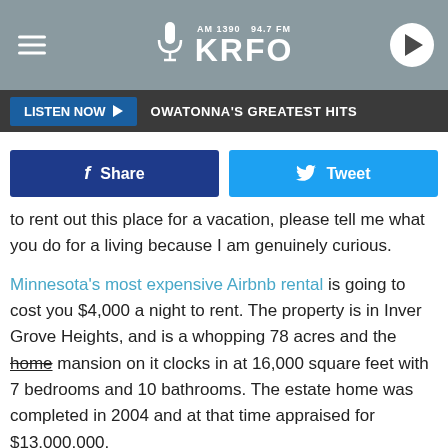AM 1390 94.7 FM KRFO — OWATONNA'S GREATEST HITS
[Figure (screenshot): KRFO radio station header with logo, hamburger menu, play button, and Listen Now bar]
to rent out this place for a vacation, please tell me what you do for a living because I am genuinely curious.
Minnesota's most expensive Airbnb rental is going to cost you $4,000 a night to rent. The property is in Inver Grove Heights, and is a whopping 78 acres and the home mansion on it clocks in at 16,000 square feet with 7 bedrooms and 10 bathrooms. The estate home was completed in 2004 and at that time appraised for $13,000,000.